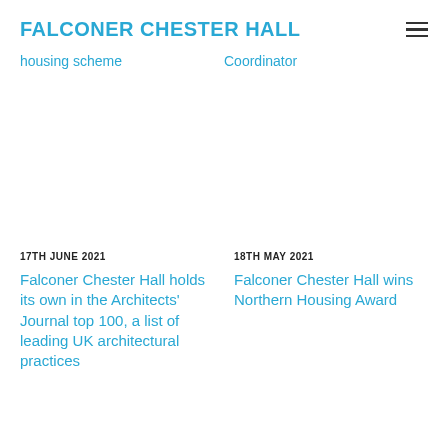FALCONER CHESTER HALL
housing scheme
Coordinator
17TH JUNE 2021
Falconer Chester Hall holds its own in the Architects' Journal top 100, a list of leading UK architectural practices
18TH MAY 2021
Falconer Chester Hall wins Northern Housing Award